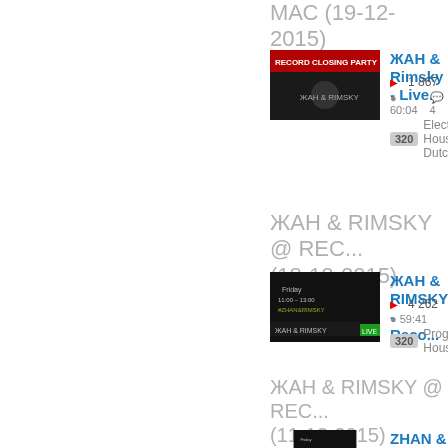МАС (19-12-2015)
[Figure (photo): Thumbnail for ЖАН & Rimsky Live set record closing party]
ЖАН & Rimsky - Live...
1 867   60:04   4   320   Electro House, Dutc...
ЖАН & RIMSKY @ REC... (18-12-2015)
[Figure (photo): Thumbnail for ЖАН & RIMSKY Reco set Friday show]
ЖАН & RIMSKY - Reco...
4 262   59:41      320   Progressive House,...
ЖАН & RIMSKY @ REC... (11-12-2015)
[Figure (photo): Thumbnail for ZHAN & Rimsky Reco set Friday show]
ZHAN & Rimsky - Rec...
1 080   57:53      320   Progressive House,...